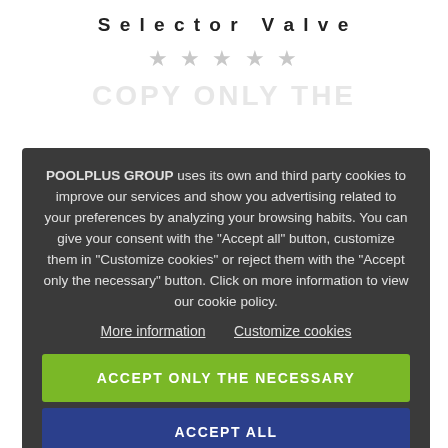Selector Valve
★★★★★
POOLPLUS GROUP uses its own and third party cookies to improve our services and show you advertising related to your preferences by analyzing your browsing habits. You can give your consent with the "Accept all" button, customize them in "Customize cookies" or reject them with the "Accept only the necessary" button. Click on more information to view our cookie policy.
More information   Customize cookies
ACCEPT ONLY THE NECESSARY
ACCEPT ALL
ON SALE!
[Figure (photo): Pool light product photo - circular underwater light with cable]